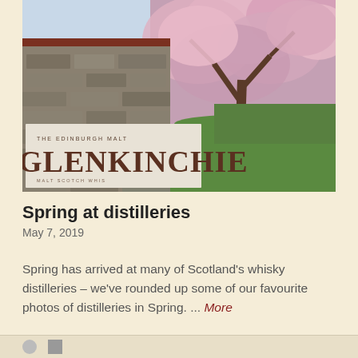[Figure (photo): Photo of Glenkinchie distillery sign in front of a stone wall with a cherry blossom tree in bloom and green lawn in the background, taken in spring.]
Spring at distilleries
May 7, 2019
Spring has arrived at many of Scotland's whisky distilleries – we've rounded up some of our favourite photos of distilleries in Spring. ... More